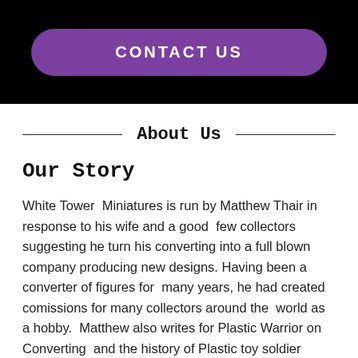CONTACT US
About Us
Our Story
White Tower  Miniatures is run by Matthew Thair in response to his wife and a good  few collectors suggesting he turn his converting into a full blown  company producing new designs. Having been a converter of figures for  many years, he had created comissions for many collectors around the  world as a hobby.  Matthew also writes for Plastic Warrior on Converting  and the history of Plastic toy soldier production. Most recently he has  written the Plastic